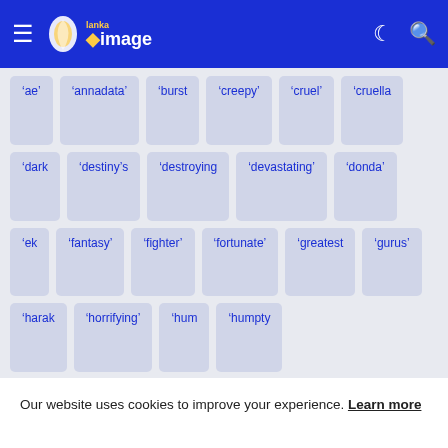Lanka Image - navigation bar with hamburger menu, logo, moon icon, search icon
'ae'
'annadata'
'burst
'creepy'
'cruel'
'cruella
'dark
'destiny's
'destroying
'devastating'
'donda'
'ek
'fantasy'
'fighter'
'fortunate'
'greatest
'gurus'
'harak
'horrifying'
'hum
'humpty
Our website uses cookies to improve your experience. Learn more
Accept !